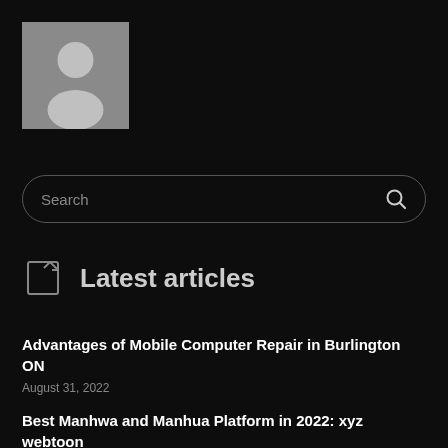[Figure (illustration): Default user avatar placeholder image — grey square with white silhouette of a person (head and shoulders)]
Search
Latest articles
Advantages of Mobile Computer Repair in Burlington ON
August 31, 2022
Best Manhwa and Manhua Platform in 2022: xyz webtoon